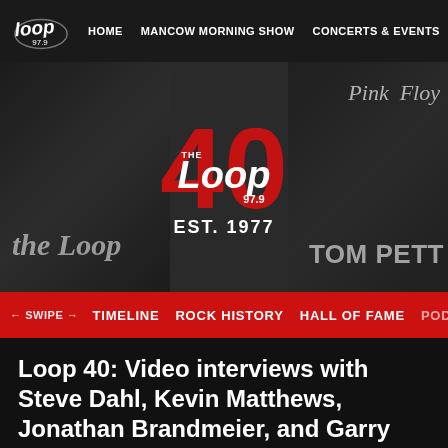HOME   MANCOW MORNING SHOW   CONCERTS & EVENTS   CONTE
[Figure (logo): The Loop 97.9 radio station 40th anniversary banner. Large red '40' with The Loop 97.9 logo overlay. Text reads EST. 1977. Background is a black and white photo collage including references to Pink Floyd and Tom Petty.]
← SWIPE →   TIMELINE   ROCK HISTORY   HALL OF FAME   POD
Loop 40: Video interviews with Steve Dahl, Kevin Matthews, Jonathan Brandmeier, and Garry Me…